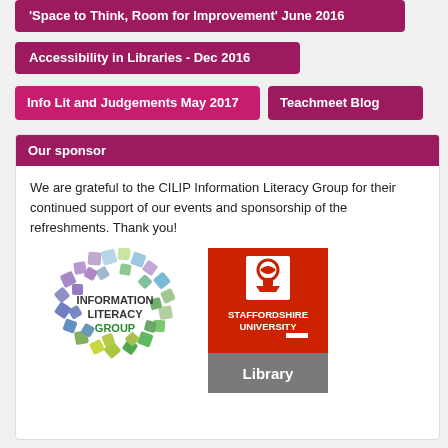'Space to Think, Room for Improvement' June 2016
Accessibility in Libraries - Dec 2016
Info Lit and Judgements May 2017
Teachmeet Blog
Our sponsor
We are grateful to the CILIP Information Literacy Group for their continued support of our events and sponsorship of the refreshments. Thank you!
[Figure (logo): Information Literacy Group logo - circular arrangement of colorful square tiles]
[Figure (logo): Staffordshire University Library logo - red square with university crest and grey library band]